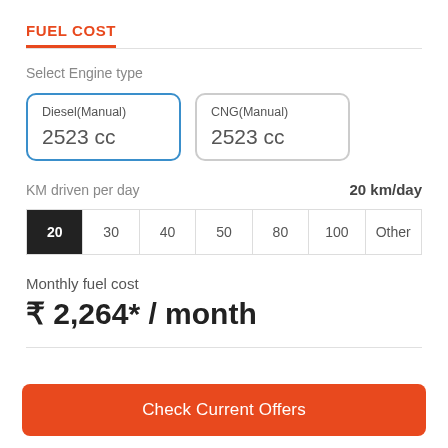FUEL COST
Select Engine type
Diesel(Manual)
2523 cc
CNG(Manual)
2523 cc
KM driven per day
20 km/day
| 20 | 30 | 40 | 50 | 80 | 100 | Other |
| --- | --- | --- | --- | --- | --- | --- |
Monthly fuel cost
₹ 2,264* / month
Check Current Offers